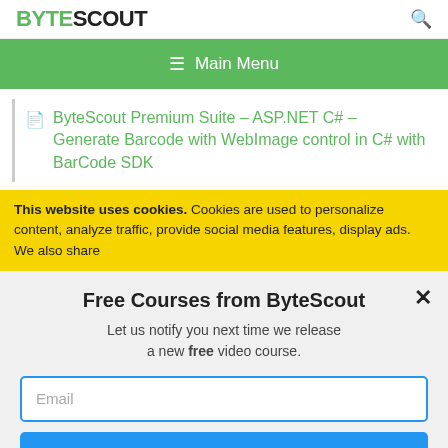BYTESCOUT
≡ Main Menu
ByteScout Premium Suite – ASP.NET C# – Generate Barcode with WebImage control in C# with BarCode SDK
This website uses cookies. Cookies are used to personalize content, analyze traffic, provide social media features, display ads. We also share
Free Courses from ByteScout
Let us notify you next time we release a new free video course.
Email
SUBSCRIBE